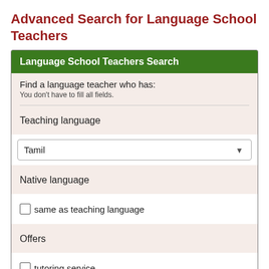Advanced Search for Language School Teachers
Language School Teachers Search
Find a language teacher who has:
You don't have to fill all fields.
Teaching language
Tamil
Native language
same as teaching language
Offers
tutoring service
Lessons are delivered